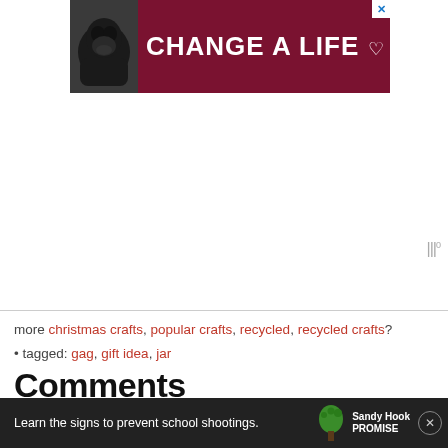[Figure (photo): Advertisement banner: dark red background with a black dog image on the left and bold white text reading 'CHANGE A LIFE' with a heart icon]
more christmas crafts, popular crafts, recycled, recycled crafts?
• tagged: gag, gift idea, jar
Comments
Carol Burk says
December 23, 2019 at 6:46 am
I made a "jar of nothing" for my mom over 10 years ago!!! I wrote my own "note" and glued it to the jar.
[Figure (photo): Bottom banner advertisement: dark background with text 'Learn the signs to prevent school shootings.' and Sandy Hook Promise logo]